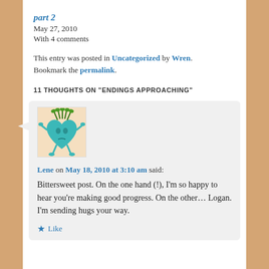part 2
May 27, 2010
With 4 comments
This entry was posted in Uncategorized by Wren. Bookmark the permalink.
11 THOUGHTS ON "ENDINGS APPROACHING"
[Figure (illustration): Avatar image of a cartoon teal heart character with green plant sprigs on top, arms and legs outstretched, looking grumpy]
Lene on May 18, 2010 at 3:10 am said:
Bittersweet post. On the one hand (!), I'm so happy to hear you're making good progress. On the other… Logan. I'm sending hugs your way.
★ Like